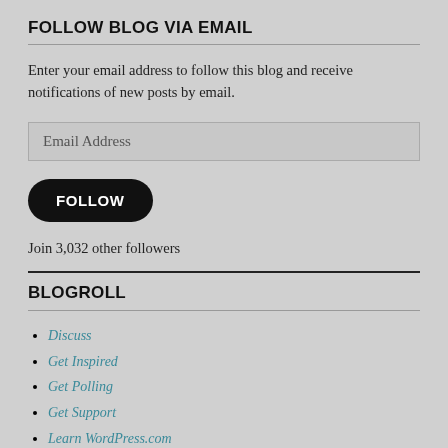FOLLOW BLOG VIA EMAIL
Enter your email address to follow this blog and receive notifications of new posts by email.
Email Address
FOLLOW
Join 3,032 other followers
BLOGROLL
Discuss
Get Inspired
Get Polling
Get Support
Learn WordPress.com
Marriage a Journey and a Dog
Sales Banner